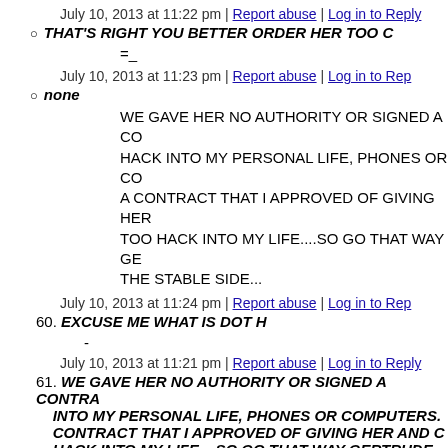July 10, 2013 at 11:22 pm | Report abuse | Log in to Reply
THAT'S RIGHT YOU BETTER ORDER HER TOO C
=_
July 10, 2013 at 11:23 pm | Report abuse | Log in to Rep
none
WE GAVE HER NO AUTHORITY OR SIGNED A CO HACK INTO MY PERSONAL LIFE, PHONES OR CO A CONTRACT THAT I APPROVED OF GIVING HER TOO HACK INTO MY LIFE....SO GO THAT WAY GE THE STABLE SIDE...
July 10, 2013 at 11:24 pm | Report abuse | Log in to Rep
60. EXCUSE ME WHAT IS DOT H
-
July 10, 2013 at 11:21 pm | Report abuse | Log in to Reply
61. WE GAVE HER NO AUTHORITY OR SIGNED A CONTRA INTO MY PERSONAL LIFE, PHONES OR COMPUTERS. CONTRACT THAT I APPROVED OF GIVING HER AND C HACK INTO MY LIFE....SO GO THAT WAY GERTRUDE M